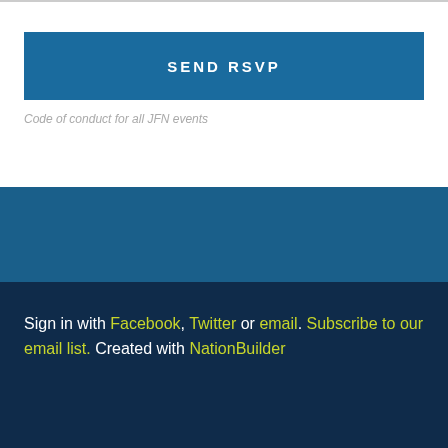SEND RSVP
Code of conduct for all JFN events
Sign in with Facebook, Twitter or email. Subscribe to our email list. Created with NationBuilder